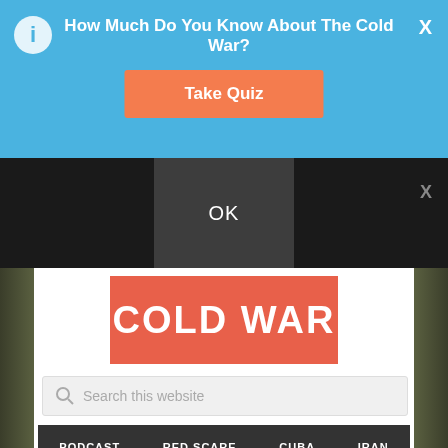How Much Do You Know About The Cold War?
Take Quiz
OK
COLD WAR
Search this website
PODCAST
RED SCARE
CUBA
IRAN
URBANIZATION
SPY
AFGHANISTAN
TAIWAN